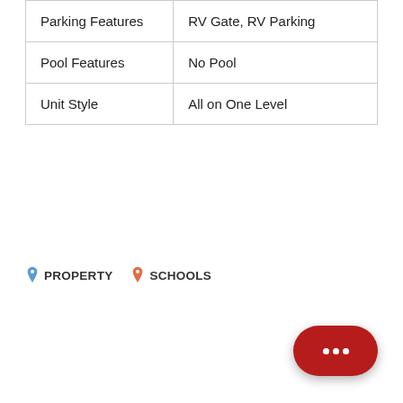| Parking Features | RV Gate, RV Parking |
| Pool Features | No Pool |
| Unit Style | All on One Level |
PROPERTY   SCHOOLS
[Figure (other): Red rounded rectangle chat button with three white dots in speech bubble style, positioned bottom right]